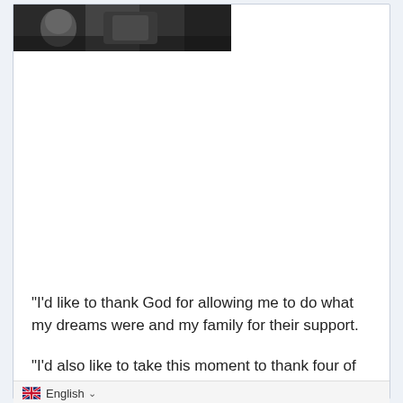[Figure (photo): Black and white photo strip at the top of the page showing partial view of a person]
“I’d like to thank God for allowing me to do what my dreams were and my family for their support.
“I’d also like to take this moment to thank four of the [people] t I ever met whilst being in the band and doing all the amazing things that I did. Some of the things that we did will stay with me for the rest of my